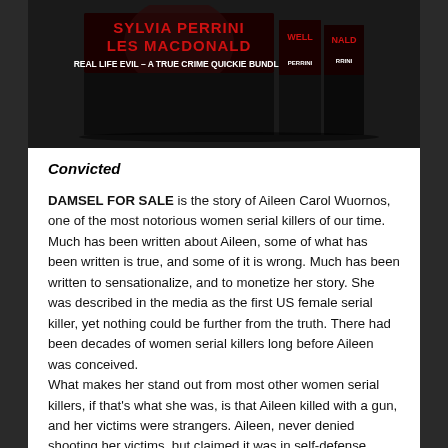[Figure (photo): Book bundle cover showing stacked books with authors Sylvia Perrini and Les Macdonald, titled 'Real Life Evil – A True Crime Quickie Bundle', with red text on dark background.]
Convicted
DAMSEL FOR SALE is the story of Aileen Carol Wuornos, one of the most notorious women serial killers of our time. Much has been written about Aileen, some of what has been written is true, and some of it is wrong. Much has been written to sensationalize, and to monetize her story. She was described in the media as the first US female serial killer, yet nothing could be further from the truth. There had been decades of women serial killers long before Aileen was conceived.
What makes her stand out from most other women serial killers, if that's what she was, is that Aileen killed with a gun, and her victims were strangers. Aileen, never denied shooting her victims, but claimed it was in self-defense.